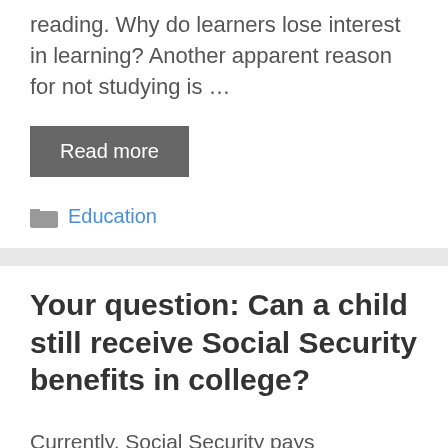reading. Why do learners lose interest in learning? Another apparent reason for not studying is …
Read more
Education
Your question: Can a child still receive Social Security benefits in college?
Currently, Social Security pays dependent or survivor benefits only to students attending